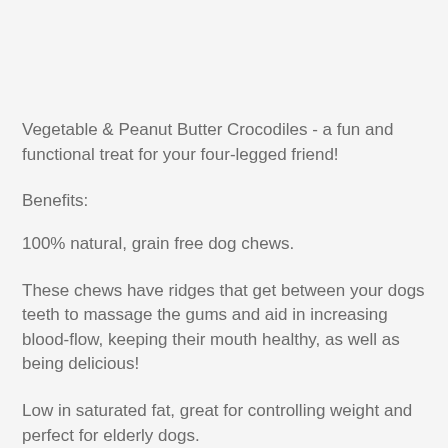Vegetable & Peanut Butter Crocodiles - a fun and functional treat for your four-legged friend!
Benefits:
100% natural, grain free dog chews.
These chews have ridges that get between your dogs teeth to massage the gums and aid in increasing blood-flow, keeping their mouth healthy, as well as being delicious!
Low in saturated fat, great for controlling weight and perfect for elderly dogs.